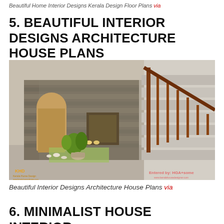Beautiful Home Interior Designs Kerala Design Floor Plans via
5. BEAUTIFUL INTERIOR DESIGNS ARCHITECTURE HOUSE PLANS
[Figure (photo): Interior photo of a Kerala home showing a wooden staircase with railing, a stone-clad wall underneath with an arched wooden door, built-in shelving, wall-mounted lights, and a small garden nook with green plants and white stones. KHD (Kerala Home Design) watermark visible in the bottom-left corner.]
Beautiful Interior Designs Architecture House Plans via
6. MINIMALIST HOUSE INTERIOR